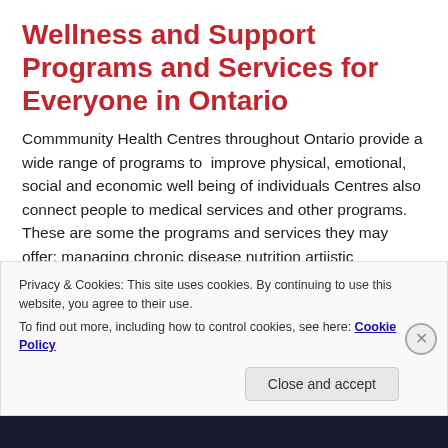Wellness and Support Programs and Services for Everyone in Ontario
Commmunity Health Centres throughout Ontario provide a wide range of programs to  improve physical, emotional, social and economic well being of individuals Centres also connect people to medical services and other programs. These are some the programs and services they may offer: managing chronic disease nutrition artiistic expression for stress reduction living well in community with mental illness laughter for wellness gathering with fellow knitters practicing English ...
Privacy & Cookies: This site uses cookies. By continuing to use this website, you agree to their use.
To find out more, including how to control cookies, see here: Cookie Policy